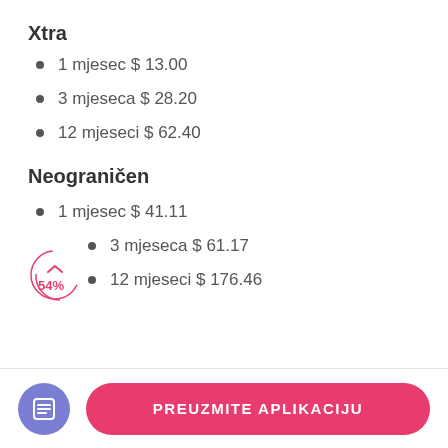Xtra
1 mjesec $ 13.00
3 mjeseca $ 28.20
12 mjeseci $ 62.40
Neograničen
1 mjesec $ 41.11
3 mjeseca $ 61.17
12 mjeseci $ 176.46
PREUZMITE APLIKACIJU